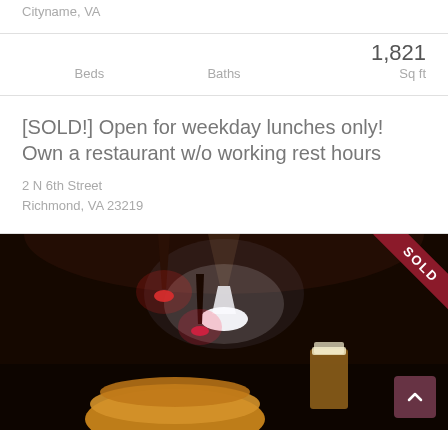Cityname, VA
| Beds | Baths | Sq ft |
| --- | --- | --- |
|  |  | 1,821 |
[SOLD!] Open for weekday lunches only! Own a restaurant w/o working rest hours
2 N 6th Street
Richmond, VA 23219
[Figure (photo): Dark restaurant interior with hanging pendant lights (one white cone-shaped, others red/pink glowing), a burger/sandwich and a beer glass on a table in the foreground. A red 'SOLD' ribbon banner in the top-right corner.]